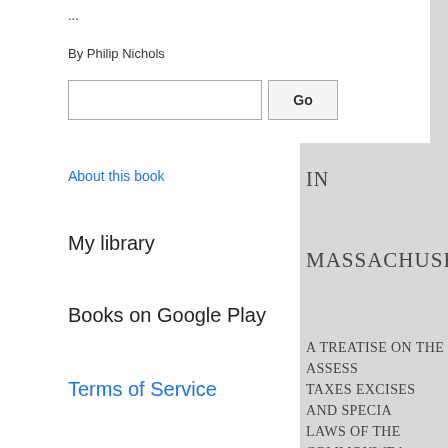...
By Philip Nichols
Go
About this book
My library
Books on Google Play
Terms of Service
IN
MASSACHUSETTS
A TREATISE ON THE ASSESS
TAXES EXCISES AND SPECIA
LAWS OF THE COMMONWEA
BY
PHILIP NICHOLS
FORMERLY ASSISTANT COR
AUTHOR OF "THE LAW OF L
AND "THE POWER OF EMIN